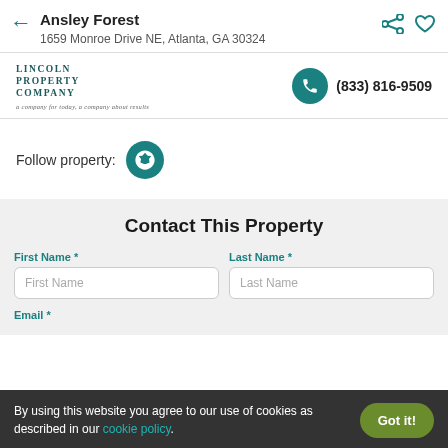Ansley Forest
1659 Monroe Drive NE, Atlanta, GA 30324
[Figure (logo): Lincoln Property Company logo with tagline]
(833) 816-9509
Follow property:
[Figure (logo): Yelp icon circle button]
Contact This Property
First Name *
Last Name *
Email *
By using this website you agree to our use of cookies as described in our cookie policy.